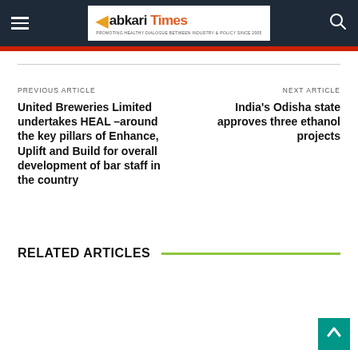Abkari Times
PREVIOUS ARTICLE
United Breweries Limited undertakes HEAL –around the key pillars of Enhance, Uplift and Build for overall development of bar staff in the country
NEXT ARTICLE
India's Odisha state approves three ethanol projects
RELATED ARTICLES